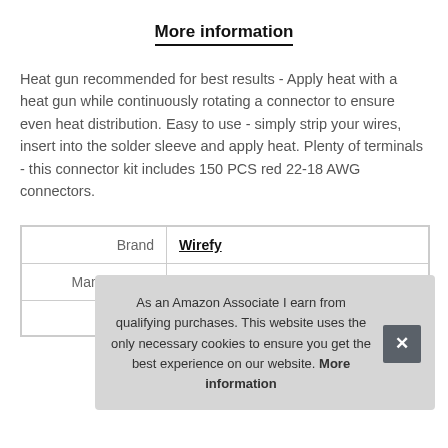More information
Heat gun recommended for best results - Apply heat with a heat gun while continuously rotating a connector to ensure even heat distribution. Easy to use - simply strip your wires, insert into the solder sleeve and apply heat. Plenty of terminals - this connector kit includes 150 PCS red 22-18 AWG connectors.
| Brand | Wirefy |
| Manufacturer | Wirefy |
| Width | 8.51 cm (2.35 Inches) |
As an Amazon Associate I earn from qualifying purchases. This website uses the only necessary cookies to ensure you get the best experience on our website. More information